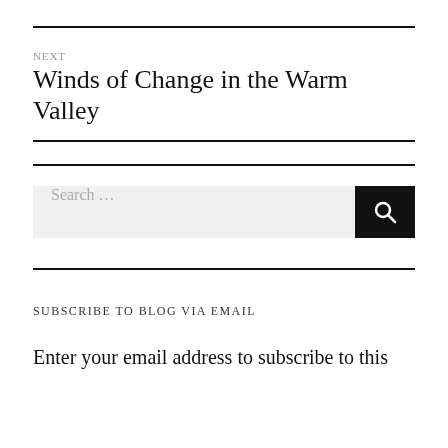NEXT
Winds of Change in the Warm Valley
[Figure (other): Search bar with text 'Search ...' and a black search button with magnifying glass icon]
SUBSCRIBE TO BLOG VIA EMAIL
Enter your email address to subscribe to this